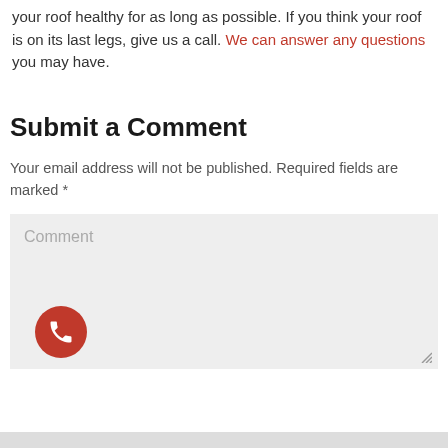your roof healthy for as long as possible. If you think your roof is on its last legs, give us a call. We can answer any questions you may have.
Submit a Comment
Your email address will not be published. Required fields are marked *
Comment